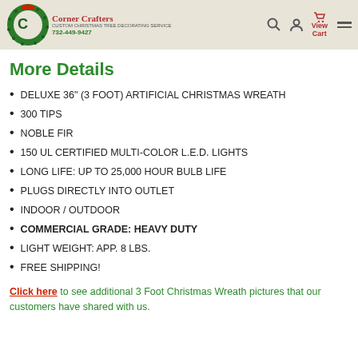[Figure (logo): Corner Crafters logo with green wreath and red bow, company name in red cursive, phone number 732-449-9427]
Corner Crafters header with search, account, View Cart, and menu icons
More Details
DELUXE 36" (3 FOOT) ARTIFICIAL CHRISTMAS WREATH
300 TIPS
NOBLE FIR
150 UL CERTIFIED MULTI-COLOR L.E.D. LIGHTS
LONG LIFE: UP TO 25,000 HOUR BULB LIFE
PLUGS DIRECTLY INTO OUTLET
INDOOR / OUTDOOR
COMMERCIAL GRADE: HEAVY DUTY
LIGHT WEIGHT: APP. 8 LBS.
FREE SHIPPING!
Click here to see additional 3 Foot Christmas Wreath pictures that our customers have shared with us.